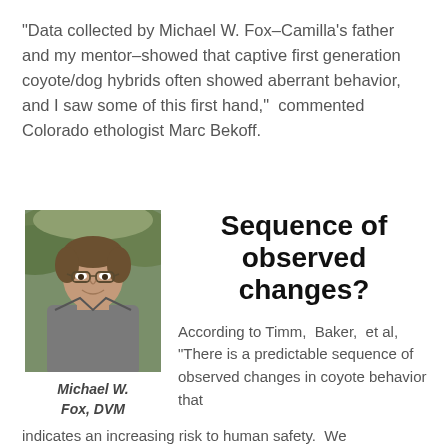“Data collected by Michael W. Fox–Camilla’s father and my mentor–showed that captive first generation coyote/dog hybrids often showed aberrant behavior,  and I saw some of this first hand,”  commented Colorado ethologist Marc Bekoff.
[Figure (photo): Portrait photo of Michael W. Fox, DVM, an older man with glasses wearing a gray cardigan, smiling outdoors]
Michael W. Fox, DVM
Sequence of observed changes?
According to Timm,  Baker,  et al, “There is a predictable sequence of observed changes in coyote behavior that indicates an increasing risk to human safety.  We